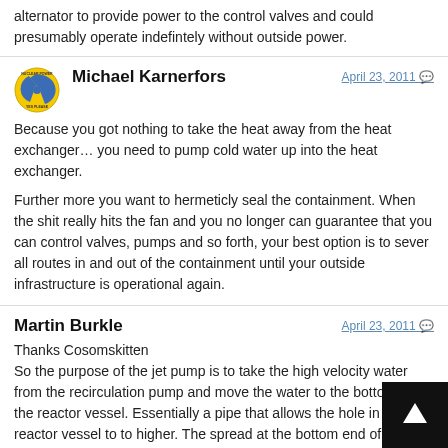alternator to provide power to the control valves and could presumably operate indefintely without outside power.
Michael Karnerfors
April 23, 2011
Because you got nothing to take the heat away from the heat exchanger… you need to pump cold water up into the heat exchanger.

Further more you want to hermeticly seal the containment. When the shit really hits the fan and you no longer can guarantee that you can control valves, pumps and so forth, your best option is to sever all routes in and out of the containment until your outside infrastructure is operational again.
Martin Burkle
April 23, 2011
Thanks Cosomskitten
So the purpose of the jet pump is to take the high velocity water from the recirculation pump and move the water to the bottom of the reactor vessel. Essentially a pipe that allows the hole in the reactor vessel to to higher. The spread at the bottom end of the jet pump would slow the water down and spread the water more evenly in the bottom of the reactor vessel. It seems strange to name this pipe a "je... because most pumps increase the speed of the circula...